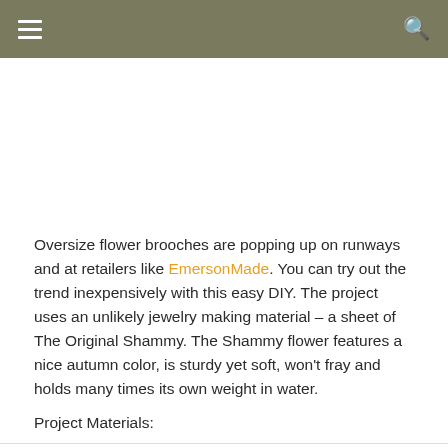Navigation bar with hamburger menu and search icon
[Figure (photo): White/blank image placeholder area below navigation bar]
Oversize flower brooches are popping up on runways and at retailers like EmersonMade. You can try out the trend inexpensively with this easy DIY. The project uses an unlikely jewelry making material – a sheet of The Original Shammy. The Shammy flower features a nice autumn color, is sturdy yet soft, won't fray and holds many times its own weight in water.
Project Materials:
1 package of The Original Shammy ($1)
A jewelry pin back (5 cents)